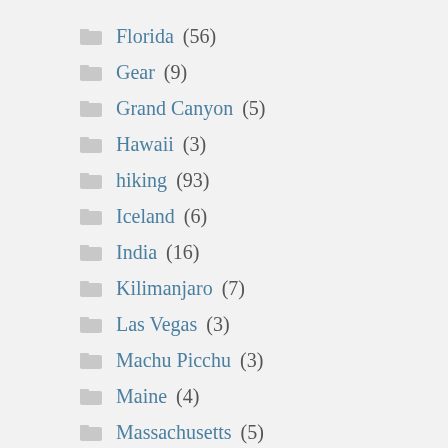Florida (56)
Gear (9)
Grand Canyon (5)
Hawaii (3)
hiking (93)
Iceland (6)
India (16)
Kilimanjaro (7)
Las Vegas (3)
Machu Picchu (3)
Maine (4)
Massachusetts (5)
Mexico (13)
Mountain climbing (97)